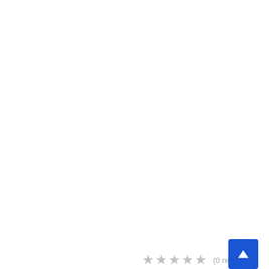[Figure (logo): Educativ logo with graduation cap icon in navy and orange, and text 'educativ' in orange and navy]
India
Delhi Public School Roorkee
(0 reviews)